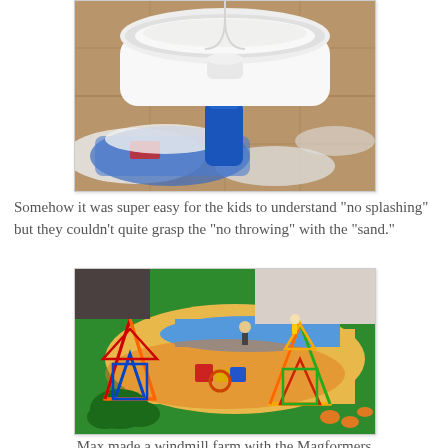[Figure (photo): Photo of a white plastic container filled with white sand/powder on a tiled floor, with a blue bottle visible underneath]
Somehow it was super easy for the kids to understand "no splashing" but they couldn't quite grasp the "no throwing" with the "sand."
[Figure (photo): Photo of colorful Magformers magnetic construction toys arranged on a children's play mat with farm/landscape design, forming windmill-like structures]
Max made a windmill farm with the Magformers